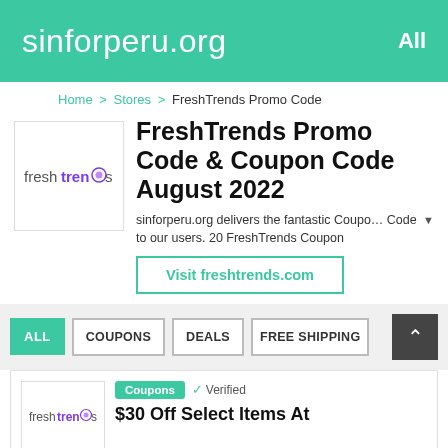sinforperu.org   All
Home > Stores > FreshTrends Promo Code
[Figure (logo): FreshTrends logo — text 'freshtrends' with a purple circular swirl replacing the letter 'o']
FreshTrends Promo Code & Coupon Code August 2022
sinforperu.org delivers the fantastic Coupo... Code to our users. 20 FreshTrends Coupon
Visit freshtrends.com
ALL   COUPONS   DEALS   FREE SHIPPING
[Figure (logo): FreshTrends logo small]
Coupons   ✓ Verified
$30 Off Select Items At